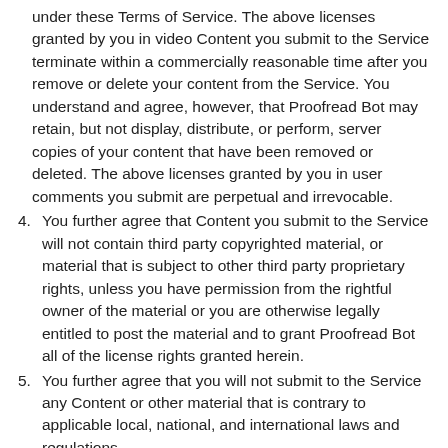under these Terms of Service. The above licenses granted by you in video Content you submit to the Service terminate within a commercially reasonable time after you remove or delete your content from the Service. You understand and agree, however, that Proofread Bot may retain, but not display, distribute, or perform, server copies of your content that have been removed or deleted. The above licenses granted by you in user comments you submit are perpetual and irrevocable.
4. You further agree that Content you submit to the Service will not contain third party copyrighted material, or material that is subject to other third party proprietary rights, unless you have permission from the rightful owner of the material or you are otherwise legally entitled to post the material and to grant Proofread Bot all of the license rights granted herein.
5. You further agree that you will not submit to the Service any Content or other material that is contrary to applicable local, national, and international laws and regulations.
6. Proofread Bot does not endorse any Content submitted to the Service by any user or other licensor, or any opinion, recommendation, or advice expressed therein, and Proofread Bot expressly disclaims any and all liability in connection with Content. Proofread Bot does not permit